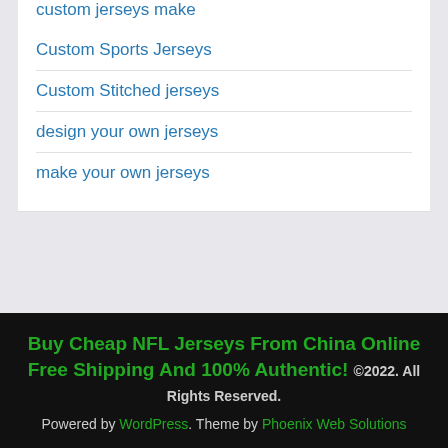custom jerseys make
Custom Sports Jerseys
Custom Stitched jerseys
design your own jerseys
make your own jerseys
Buy Cheap NFL Jerseys From China Online Free Shipping And 100% Authentic! ©2022. All Rights Reserved. Powered by WordPress. Theme by Phoenix Web Solutions